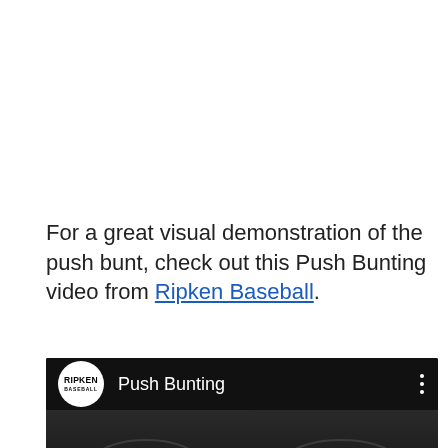For a great visual demonstration of the push bunt, check out this Push Bunting video from Ripken Baseball.
[Figure (screenshot): Embedded YouTube-style video player showing a Ripken Baseball 'Push Bunting' instructional video. The video header shows the Ripken Baseball circular logo on the left, the title 'Push Bunting' in white text, and a vertical three-dot menu icon on the right, all on a black background. The thumbnail below shows a baseball facility interior with a person in the center.]